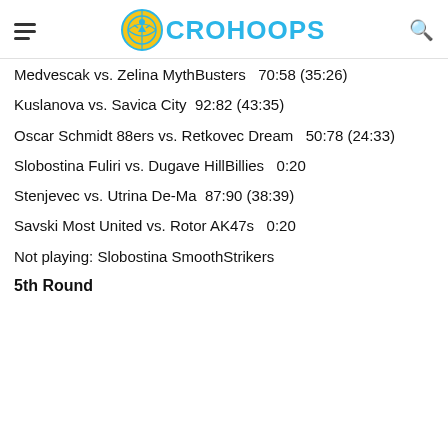CROHOOPS
Medvescak vs. Zelina MythBusters  70:58 (35:26)
Kuslanova vs. Savica City  92:82 (43:35)
Oscar Schmidt 88ers vs. Retkovec Dream  50:78 (24:33)
Slobostina Fuliri vs. Dugave HillBillies  0:20
Stenjevec vs. Utrina De-Ma  87:90 (38:39)
Savski Most United vs. Rotor AK47s  0:20
Not playing: Slobostina SmoothStrikers
5th Round